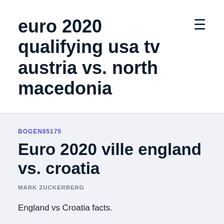euro 2020 qualifying usa tv austria vs. north macedonia
BOGEN85175
Euro 2020 ville england vs. croatia
MARK ZUCKERBERG
England vs Croatia facts.
were knocked out of the 2018 FIFA World Cup in Russia